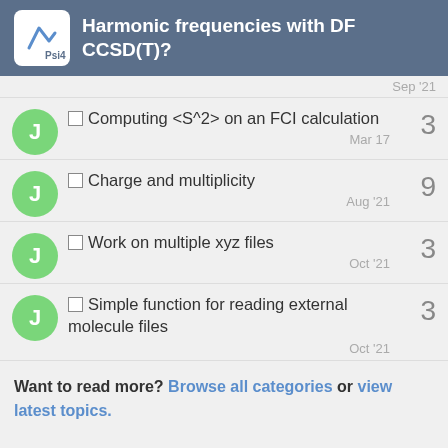Harmonic frequencies with DF CCSD(T)?
Computing <S^2> on an FCI calculation
Charge and multiplicity
Work on multiple xyz files
Simple function for reading external molecule files
Want to read more? Browse all categories or view latest topics.